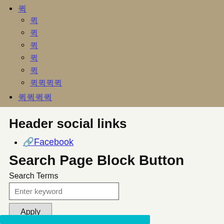퀵 (link, top-level bullet)
퀵 (sub-item)
퀵 (sub-item)
퀵 (sub-item)
퀵 (sub-item)
퀵 (sub-item)
퀵퀵퀵퀵 (sub-item)
퀵퀵퀵퀵 (top-level bullet)
Header social links
🔗Facebook
Search Page Block Button
Search Terms
Enter keyword
Apply